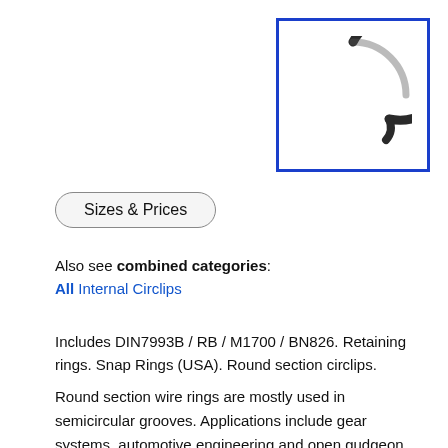[Figure (photo): A round section internal circlip / snap ring (wire ring) photographed against white background, shown as an open circle (C-shape) in dark metallic color, inside a blue-bordered box.]
Sizes & Prices
Also see combined categories:
All Internal Circlips
Includes DIN7993B / RB / M1700 / BN826. Retaining rings. Snap Rings (USA). Round section circlips.
Round section wire rings are mostly used in semicircular grooves. Applications include gear systems, automotive engineering and open gudgeon pins.